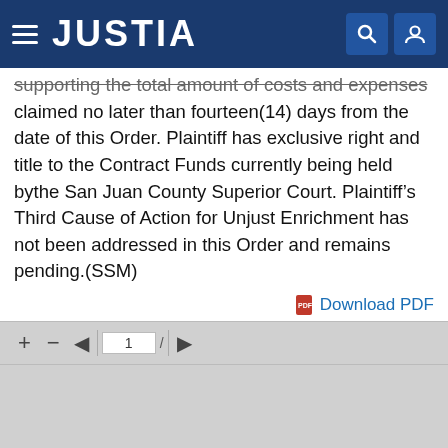JUSTIA
supporting the total amount of costs and expenses claimed no later than fourteen(14) days from the date of this Order. Plaintiff has exclusive right and title to the Contract Funds currently being held bythe San Juan County Superior Court. Plaintiff’s Third Cause of Action for Unjust Enrichment has not been addressed in this Order and remains pending.(SSM)
Download PDF
[Figure (screenshot): PDF document viewer area with toolbar showing +, -, navigation arrows, and page number 1]